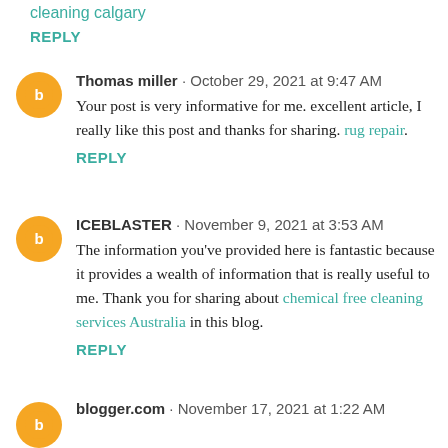cleaning calgary
REPLY
Thomas miller · October 29, 2021 at 9:47 AM
Your post is very informative for me. excellent article, I really like this post and thanks for sharing. rug repair.
REPLY
ICEBLASTER · November 9, 2021 at 3:53 AM
The information you've provided here is fantastic because it provides a wealth of information that is really useful to me. Thank you for sharing about chemical free cleaning services Australia in this blog.
REPLY
blogger.com · November 17, 2021 at 1:22 AM